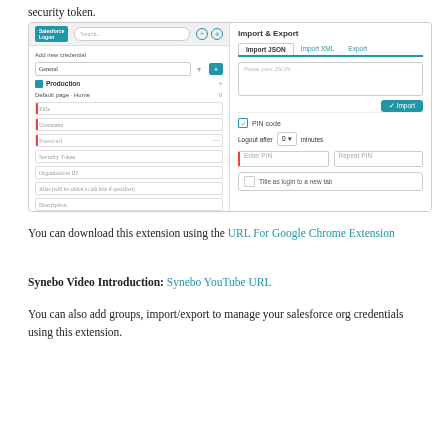security token.
[Figure (screenshot): Screenshot of Salesforce Logon Chrome extension showing an 'Add new credential' form on the left with fields for Title, Username, Password, Security Token, Organization ID, Alias, and Description, plus Cancel/Save buttons and a cloud upload icon. On the right is an 'Import & Export' panel with Import JSON, Import XML, and Export tabs, a text area for pasting JSON, an Import button, a PIN code section with logout timer and Enter PIN/Repeat PIN fields, and a 'Title as login to a new tab' checkbox.]
You can download this extension using the URL For Google Chrome Extension
Synebo Video Introduction: Synebo YouTube URL
You can also add groups, import/export to manage your salesforce org credentials using this extension.